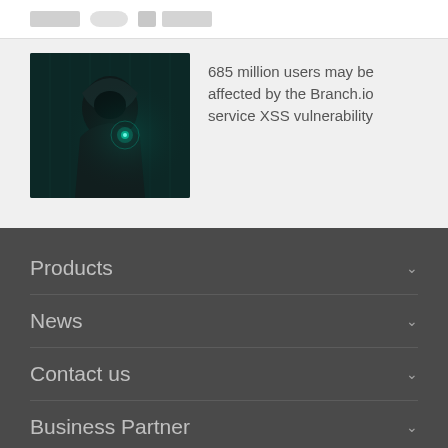[Figure (screenshot): Partial view of a website header/logo strip with icons]
[Figure (photo): A hacker figure in a hoodie touching a glowing digital interface in a dark teal environment]
685 million users may be affected by the Branch.io service XSS vulnerability
Products
News
Contact us
Business Partner